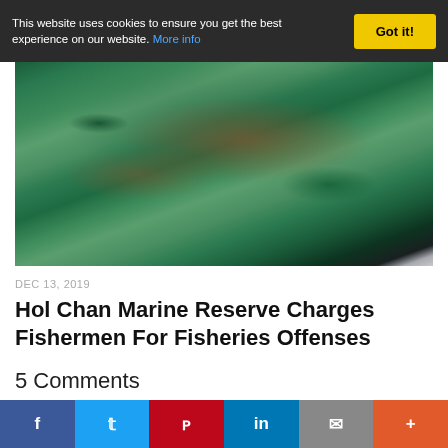This website uses cookies to ensure you get the best experience on our website. More info
[Figure (photo): Colorful tropical parrotfish with green, teal, and orange/red markings stacked together on a surface]
DEC 13, 2019
Hol Chan Marine Reserve Charges Fishermen For Fisheries Offenses
5 Comments
Facebook Twitter Pinterest LinkedIn Email More social sharing buttons